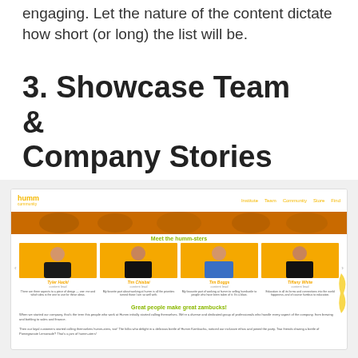engaging. Let the nature of the content dictate how short (or long) the list will be.
3. Showcase Team & Company Stories
[Figure (screenshot): Screenshot of a website (humm community) showing a team page section titled 'Meet the humm-sters' with four team member cards on orange backgrounds: Tyler Hackl (content lead), Tim Chiabai (content lead), Tim Boggs (content lead), Tiffany White (content lead), each with a photo, name, role, and brief quote. Below is a section titled 'Great people make great zambucks!' with descriptive text about the company.]